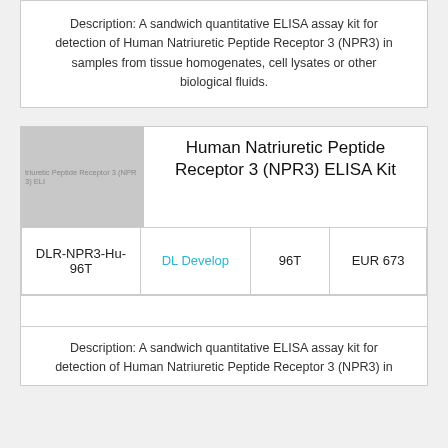Description: A sandwich quantitative ELISA assay kit for detection of Human Natriuretic Peptide Receptor 3 (NPR3) in samples from tissue homogenates, cell lysates or other biological fluids.
[Figure (photo): Gray placeholder image for Human Natriuretic Peptide Receptor 3 (NPR3) ELISA Kit product]
Human Natriuretic Peptide Receptor 3 (NPR3) ELISA Kit
| Cat. No. | Supplier | Size | Price |
| --- | --- | --- | --- |
| DLR-NPR3-Hu-96T | DL Develop | 96T | EUR 673 |
Description: A sandwich quantitative ELISA assay kit for detection of Human Natriuretic Peptide Receptor 3 (NPR3) in